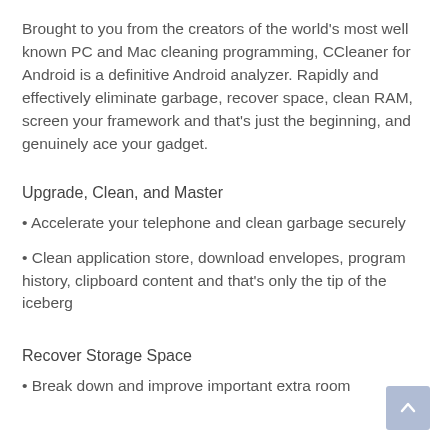Brought to you from the creators of the world's most well known PC and Mac cleaning programming, CCleaner for Android is a definitive Android analyzer. Rapidly and effectively eliminate garbage, recover space, clean RAM, screen your framework and that's just the beginning, and genuinely ace your gadget.
Upgrade, Clean, and Master
• Accelerate your telephone and clean garbage securely
• Clean application store, download envelopes, program history, clipboard content and that's only the tip of the iceberg
Recover Storage Space
• Break down and improve important extra room